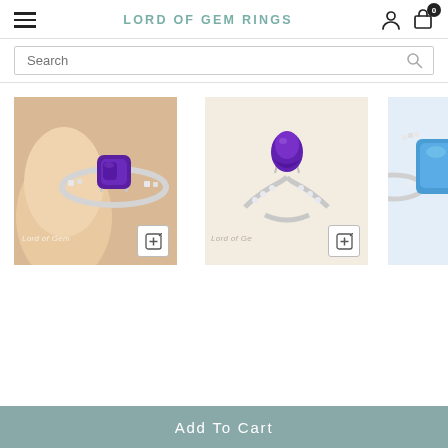LORD OF GEM RINGS
Search
[Figure (photo): Cushion amethyst hidden halo ring with diamond accents in 14K white gold, shown held between fingers]
Cushion Amethyst Hidden Halo Ring with Diamond Accents 14K White Gold
From $359.00
[Figure (photo): Pear amethyst bud ring with diamond accents in 14K white gold, shown on light background]
Pear Amethyst Bud Ring with Diamond Accents 14K White Gold
From $599.00
[Figure (photo): Partial view of Princess topaz hidden halo engagement ring in white gold with blue stone]
Princess Top... Hidden Halo Engagement... White Gold
From $...
Add To Cart